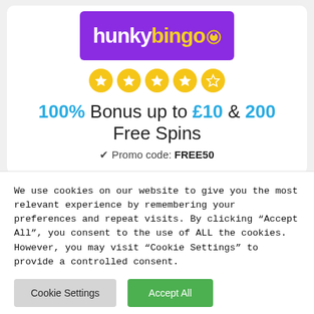[Figure (logo): Hunky Bingo logo — white text 'hunky' and yellow text 'bingo' with a circular bingo ball icon, on a purple background]
[Figure (infographic): Five golden star rating circles in a row, with four filled stars and one outline/empty star]
100% Bonus up to £10 & 200 Free Spins
✔ Promo code: FREE50
We use cookies on our website to give you the most relevant experience by remembering your preferences and repeat visits. By clicking "Accept All", you consent to the use of ALL the cookies. However, you may visit "Cookie Settings" to provide a controlled consent.
Cookie Settings | Accept All